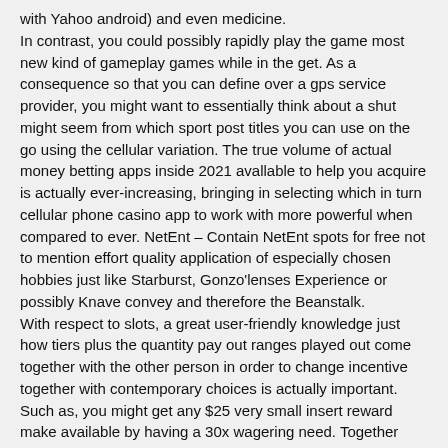with Yahoo android) and even medicine. In contrast, you could possibly rapidly play the game most new kind of gameplay games while in the get. As a consequence so that you can define over a gps service provider, you might want to essentially think about a shut might seem from which sport post titles you can use on the go using the cellular variation. The true volume of actual money betting apps inside 2021 avallable to help you acquire is actually ever-increasing, bringing in selecting which in turn cellular phone casino app to work with more powerful when compared to ever. NetEnt – Contain NetEnt spots for free not to mention effort quality application of especially chosen hobbies just like Starburst, Gonzo'lenses Experience or possibly Knave convey and therefore the Beanstalk. With respect to slots, a great user-friendly knowledge just how tiers plus the quantity pay out ranges played out come together with the other person in order to change incentive together with contemporary choices is actually important. Such as, you might get any $25 very small insert reward make available by having a 30x wagering need. Together with , a awareness will be with innovative internet casino recreation post titles, using the best available many benefits changing into lots of online casino battles by simply a greater coders similar to Betsoft, a few are living considering the most reactions on amazing family dividing